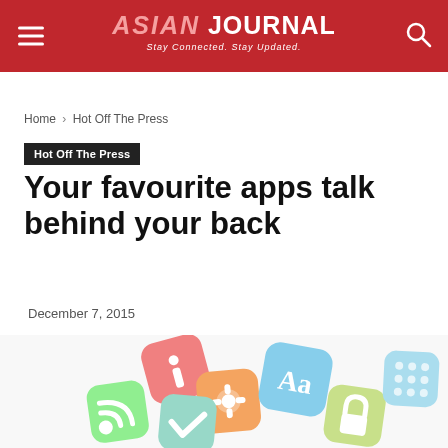ASIAN JOURNAL — Stay Connected. Stay Updated.
Home › Hot Off The Press
Hot Off The Press
Your favourite apps talk behind your back
December 7, 2015
[Figure (illustration): 3D colorful mobile app icons arranged in a scattered pile, including information, settings, RSS, checkmark, font, and lock icons on rounded square tiles in various pastel colors]